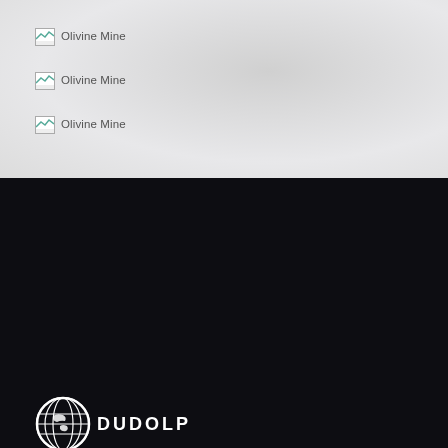Olivine Mine
Olivine Mine
Olivine Mine
[Figure (logo): DUDOLP globe logo with text DUDOLP]
DUDOLP MINING is a world wholesale mining supplier company specialized in natural and mineral mining such as bauxite, marble, manganese, iron, chrome and olivine ore.
[Figure (other): Social media icons: Facebook, Twitter, Google+, LinkedIn]